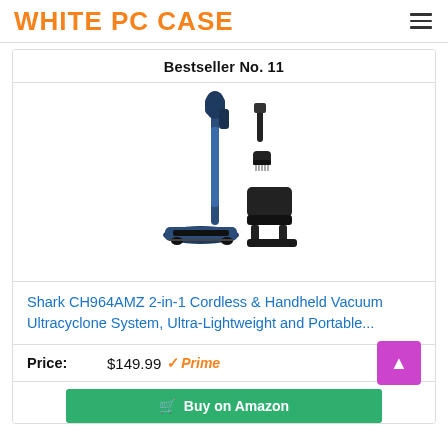WHITE PC CASE
Bestseller No. 11
[Figure (photo): Shark CH964AMZ cordless handheld vacuum cleaner in dark blue, shown with attachments including a crevice tool, brush nozzle, and floor head stand]
Shark CH964AMZ 2-in-1 Cordless & Handheld Vacuum Ultracyclone System, Ultra-Lightweight and Portable...
Price: $149.99 Prime
Buy on Amazon